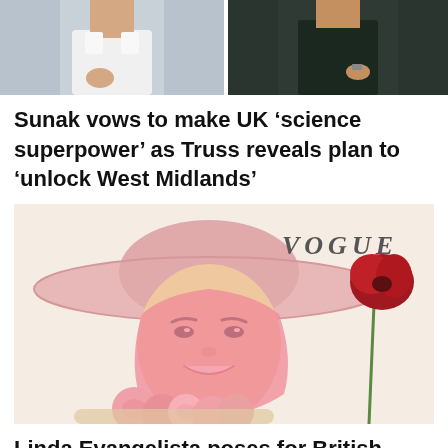[Figure (photo): Two cropped photos side by side: left shows a man in a white shirt, right shows a person in a dark outfit]
Sunak vows to make UK ‘science superpower’ as Truss reveals plan to ‘unlock West Midlands’
[Figure (photo): Linda Evangelista on the cover of British Vogue, wearing a large pink wide-brim hat and pink silk head scarf, holding pink and red flowers, with VOGUE text in top right]
Linda Evangelista poses for British Vogue with tape and elastic holding her face after being left